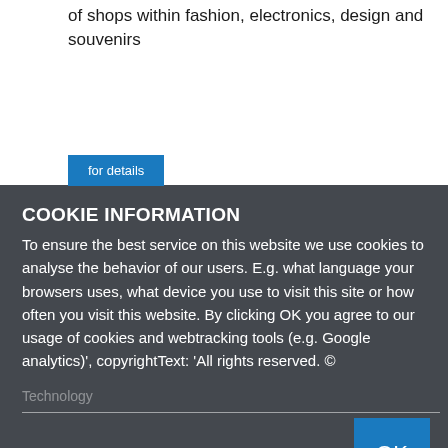of shops within fashion, electronics, design and souvenirs
[Figure (screenshot): Blue 'for details' button on white background]
COOKIE INFORMATION
To ensure the best service on this website we use cookies to analyse the behavior of our users. E.g. what language your browsers uses, what device you use to visit this site or how often you visit this website. By clicking OK you agree to our usage of cookies and webtracking tools (e.g. Google analytics)', copyrightText: 'All rights reserved. ©
Technology
[Figure (screenshot): Blue OK button at bottom right of cookie dialog over dark overlay with background photo]